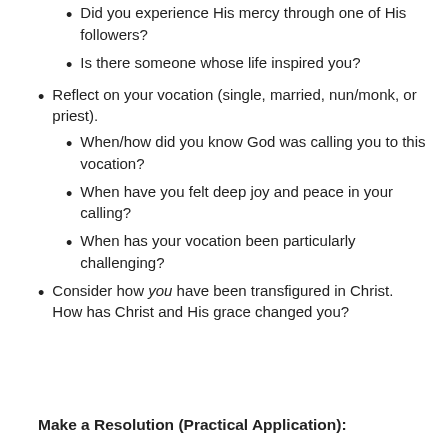Did you experience His mercy through one of His followers?
Is there someone whose life inspired you?
Reflect on your vocation (single, married, nun/monk, or priest).
When/how did you know God was calling you to this vocation?
When have you felt deep joy and peace in your calling?
When has your vocation been particularly challenging?
Consider how you have been transfigured in Christ. How has Christ and His grace changed you?
Make a Resolution (Practical Application):